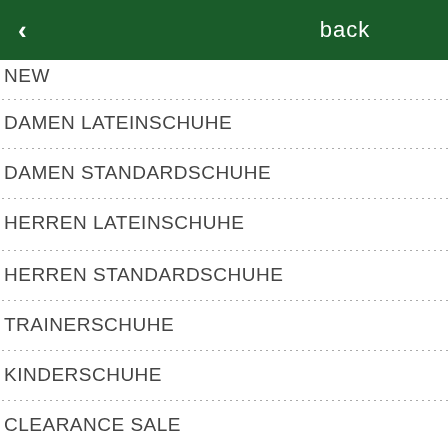back
NEW
DAMEN LATEINSCHUHE
DAMEN STANDARDSCHUHE
HERREN LATEINSCHUHE
HERREN STANDARDSCHUHE
TRAINERSCHUHE
KINDERSCHUHE
CLEARANCE SALE
[Figure (screenshot): Overlapping popup/modal card showing partial text 'ungen' and 'amit', with a dark navy card showing stars, on a grey background with green scroll-to-top button.]